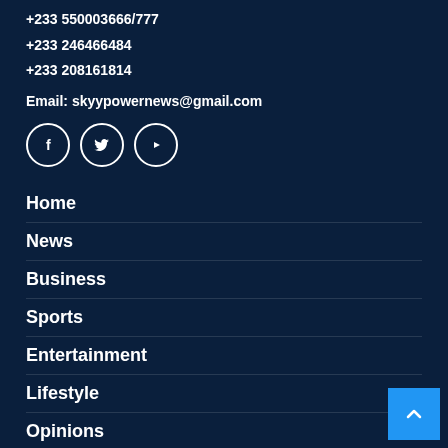+233 550003666/777
+233 246466484
+233 208161814
Email: skyypowernews@gmail.com
[Figure (infographic): Three circular social media icons: Facebook (f), Twitter (bird), YouTube (play button)]
Home
News
Business
Sports
Entertainment
Lifestyle
Opinions
Announcements